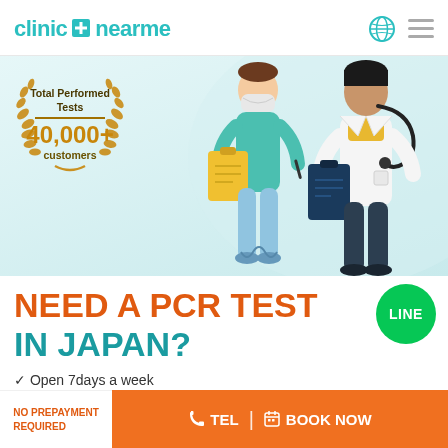[Figure (logo): clinic nearme logo with teal cross and teal text, globe icon and hamburger menu on right]
[Figure (illustration): Hero banner with light blue background showing illustrated medical professionals - a masked nurse/doctor in teal holding a yellow clipboard, and a doctor in white coat holding a dark blue clipboard with stethoscope. Award badge on left showing Total Performed Tests 40,000+ customers with golden laurel wreath.]
NEED A PCR TEST IN JAPAN?
✓ Open 7days a week
NO PREPAYMENT REQUIRED
TEL | BOOK NOW